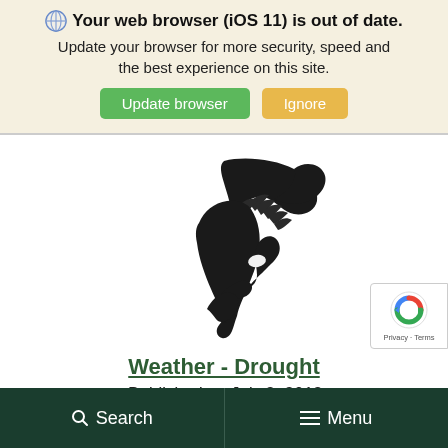Your web browser (iOS 11) is out of date. Update your browser for more security, speed and the best experience on this site.
[Figure (logo): Michigan State University Spartan helmet logo in black silhouette]
Weather - Drought
Published on July 2, 2012
Search | Menu